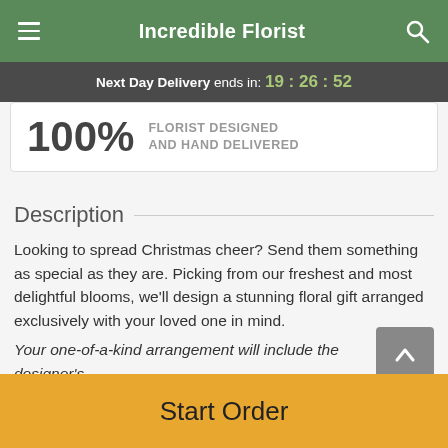Incredible Florist
Next Day Delivery ends in: 19:26:52
100% FLORIST DESIGNED AND HAND DELIVERED
Description
Looking to spread Christmas cheer? Send them something as special as they are. Picking from our freshest and most delightful blooms, we'll design a stunning floral gift arranged exclusively with your loved one in mind.
Your one-of-a-kind arrangement will include the designer's
Start Order